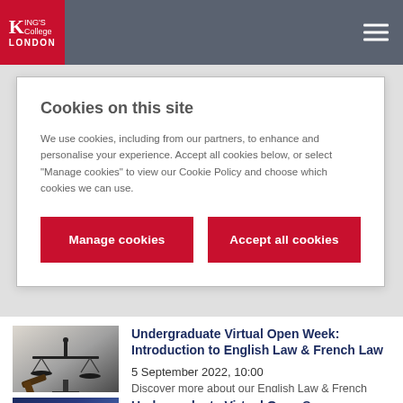King's College London
Cookies on this site
We use cookies, including from our partners, to enhance and personalise your experience. Accept all cookies below, or select "Manage cookies" to view our Cookie Policy and choose which cookies we can use.
Manage cookies
Accept all cookies
Undergraduate Virtual Open Week: Introduction to English Law & French Law
5 September 2022, 10:00
Discover more about our English Law & French Law...
[Figure (photo): Photo of scales of justice and gavel on desk]
[Figure (photo): Partial photo, appears to be a blue-toned image related to the next event]